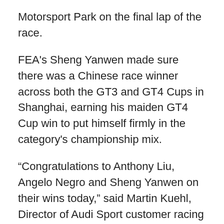Motorsport Park on the final lap of the race.
FEA's Sheng Yanwen made sure there was a Chinese race winner across both the GT3 and GT4 Cups in Shanghai, earning his maiden GT4 Cup win to put himself firmly in the category's championship mix.
“Congratulations to Anthony Liu, Angelo Negro and Sheng Yanwen on their wins today,” said Martin Kuehl, Director of Audi Sport customer racing Asia. “Shanghai is the home of the Chinese motorsport and of the Cup, so it’s fitting to see two Chinese drivers on the top step of the podium today.”
Shahin's fifth place finish strengthens his lead at the top of the overall championship leaderboard. The Australian's 80-point tally sees him 30 points clear of closest challenger and fellow countryman Tony Bates of Tony